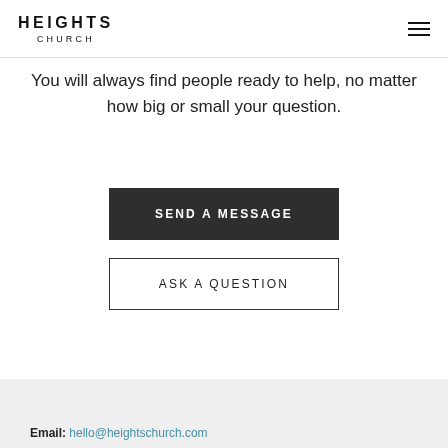HEIGHTS CHURCH
You will always find people ready to help, no matter how big or small your question.
SEND A MESSAGE
ASK A QUESTION
Email: hello@heightschurch.com